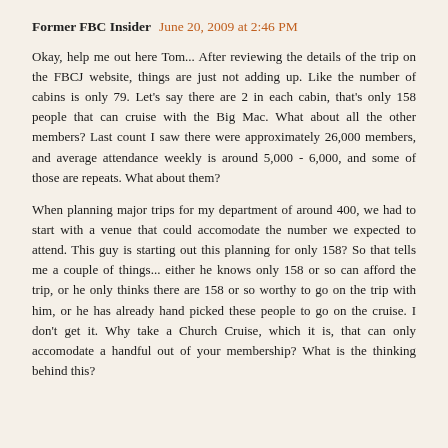Former FBC Insider  June 20, 2009 at 2:46 PM
Okay, help me out here Tom... After reviewing the details of the trip on the FBCJ website, things are just not adding up. Like the number of cabins is only 79. Let's say there are 2 in each cabin, that's only 158 people that can cruise with the Big Mac. What about all the other members? Last count I saw there were approximately 26,000 members, and average attendance weekly is around 5,000 - 6,000, and some of those are repeats. What about them?
When planning major trips for my department of around 400, we had to start with a venue that could accomodate the number we expected to attend. This guy is starting out this planning for only 158? So that tells me a couple of things... either he knows only 158 or so can afford the trip, or he only thinks there are 158 or so worthy to go on the trip with him, or he has already hand picked these people to go on the cruise. I don't get it. Why take a Church Cruise, which it is, that can only accomodate a handful out of your membership? What is the thinking behind this?